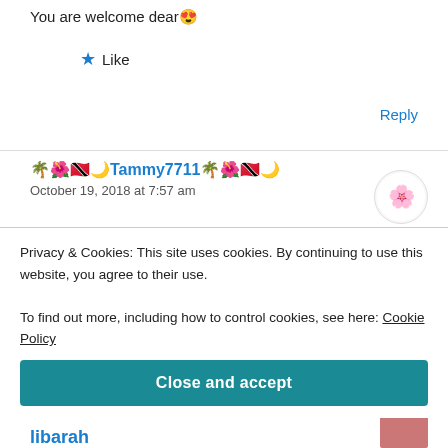You are welcome dear 😍
★ Like
Reply
🌴🌺🇹🇹🌙Tammy7711🌴🌺🇹🇹🌙
October 19, 2018 at 7:57 am
Congrats to you dearest! God bless and continue to cook with love and delight! Much love! ❤️
Privacy & Cookies: This site uses cookies. By continuing to use this website, you agree to their use.
To find out more, including how to control cookies, see here: Cookie Policy
Close and accept
libarah